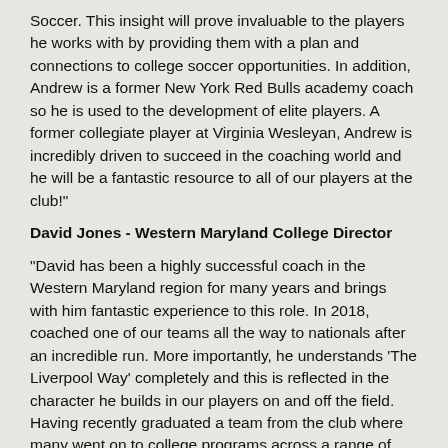Soccer. This insight will prove invaluable to the players he works with by providing them with a plan and connections to college soccer opportunities. In addition, Andrew is a former New York Red Bulls academy coach so he is used to the development of elite players. A former collegiate player at Virginia Wesleyan, Andrew is incredibly driven to succeed in the coaching world and he will be a fantastic resource to all of our players at the club!"
David Jones - Western Maryland College Director
"David has been a highly successful coach in the Western Maryland region for many years and brings with him fantastic experience to this role. In 2018, coached one of our teams all the way to nationals after an incredible run. More importantly, he understands 'The Liverpool Way' completely and this is reflected in the character he builds in our players on and off the field. Having recently graduated a team from the club where many went on to college programs across a range of divisions, we see him as the ideal fit to provide guidance to the locations aspiring players!"